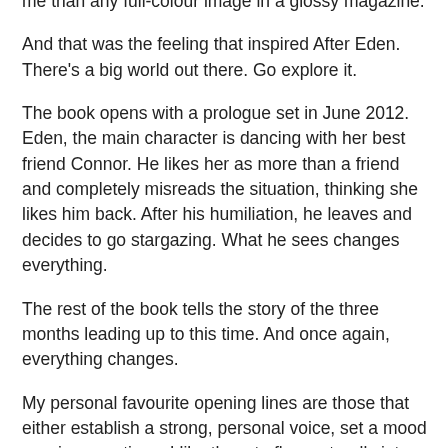four little dots that are Jupiter's moons and Saturn's grainy rings made those planets feel more real to me than any full-colour image in a glossy magazine.
And that was the feeling that inspired After Eden. There's a big world out there. Go explore it.
The book opens with a prologue set in June 2012. Eden, the main character is dancing with her best friend Connor. He likes her as more than a friend and completely misreads the situation, thinking she likes him back. After his humiliation, he leaves and decides to go stargazing. What he sees changes everything.
The rest of the book tells the story of the three months leading up to this time. And once again, everything changes.
My personal favourite opening lines are those that either establish a strong, personal voice, set a mood or raise questions. I like them to flow naturally into the story and not feel that the writer is trying too hard. I want to be hooked without knowing why.